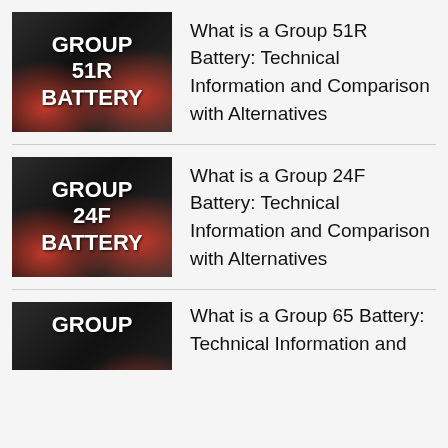[Figure (photo): Dark car battery image with white text overlay reading GROUP 51R BATTERY]
What is a Group 51R Battery: Technical Information and Comparison with Alternatives
[Figure (photo): Dark car battery image with white text overlay reading GROUP 24F BATTERY]
What is a Group 24F Battery: Technical Information and Comparison with Alternatives
[Figure (photo): Dark car battery image with white text overlay reading GROUP [65] BATTERY, partially visible]
What is a Group 65 Battery: Technical Information and